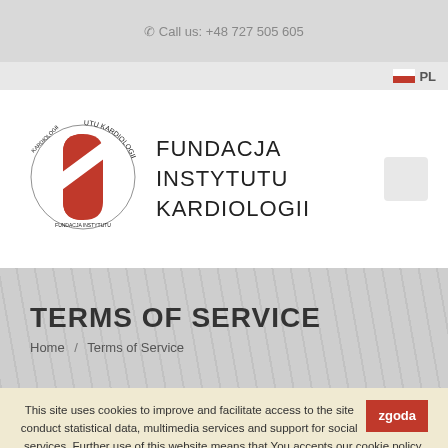Call us: +48 727 505 605
[Figure (logo): Fundacja Instytutu Kardiologii logo with red heart/pill icon and circular text]
FUNDACJA INSTYTUTU KARDIOLOGII
TERMS OF SERVICE
Home / Terms of Service
This site uses cookies to improve and facilitate access to the site conduct statistical data, multimedia services and support for social services. Further use of this website means that You accepts our cookie policy. You alone decide what cookies can be reproduced on your device. Read: how to disable cookies. Detailed information about the use of cookies can be found at cookie policy.